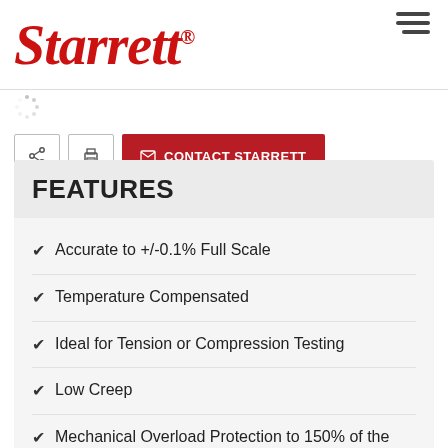[Figure (logo): Starrett brand logo in red italic serif font with registered trademark symbol]
CONTACT STARRETT
FEATURES
Accurate to +/-0.1% Full Scale
Temperature Compensated
Ideal for Tension or Compression Testing
Low Creep
Mechanical Overload Protection to 150% of the rated capacity